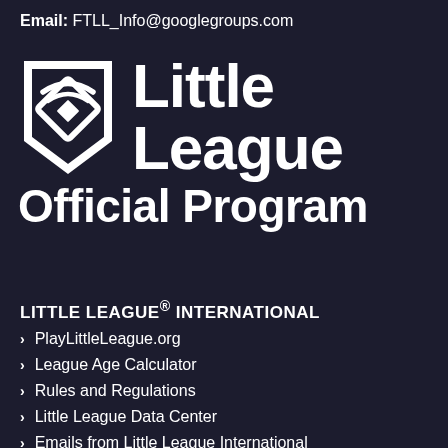Email: FTLL_Info@googlegroups.com
[Figure (logo): Little League Official Program logo — white shield/diamond icon with 'Little League' bold text and 'Official Program' below on dark background]
LITTLE LEAGUE® INTERNATIONAL
PlayLittleLeague.org
League Age Calculator
Rules and Regulations
Little League Data Center
Emails from Little League International
Little League Privacy Policy